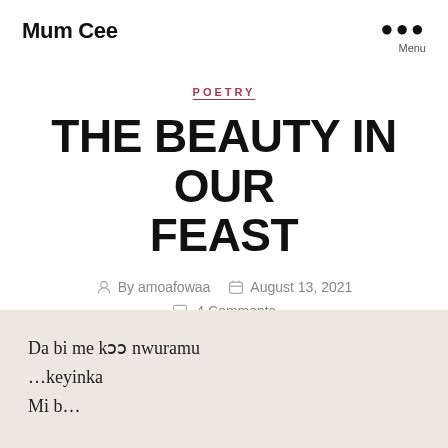Mum Cee
POETRY
THE BEAUTY IN OUR FEAST
By amoafowaa   August 13, 2021   4 Comments
Da bi me kɔɔ nwuramu
…keyinka
Mi b…